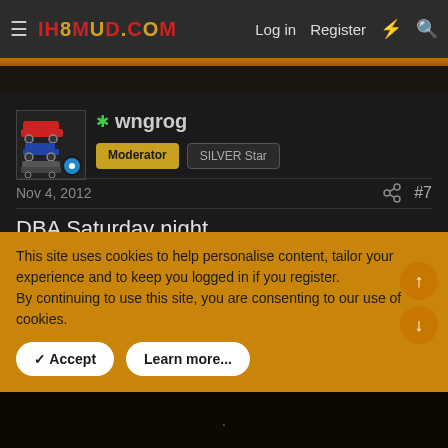ih8mud.com — Log in  Register
* wngrog  Moderator  SILVER Star
Nov 4, 2012  #7
DBA Saturday night
This site uses cookies to help personalise content, tailor your experience and to keep you logged in if you register.
By continuing to use this site, you are consenting to our use of cookies.